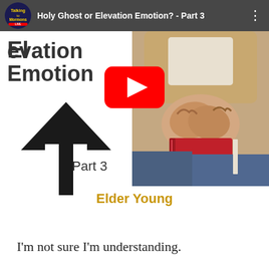[Figure (screenshot): YouTube video thumbnail screenshot for 'Holy Ghost or Elevation Emotion? - Part 3' by Elder Young. Left half shows white background with large bold text 'Elevation Emotion' and a large upward arrow, plus 'Part 3' text. Right half shows a person's hands clasped in prayer holding a red book. A YouTube play button overlay is centered. Channel logo visible in top-left with 'Talking to Mormons' branding. Video title bar at top.]
Elder Young
I'm not sure I'm understanding.